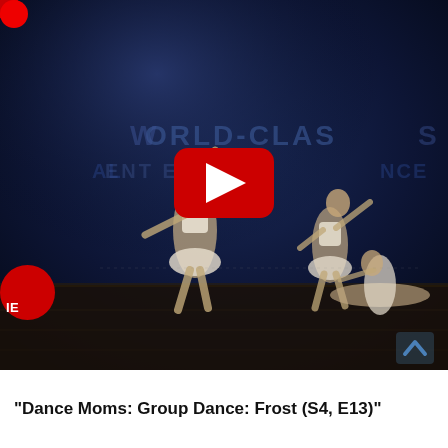[Figure (screenshot): YouTube video thumbnail showing a dance performance from Dance Moms. Three female dancers in white costumes perform on a stage with a dark blue background reading 'WORLD-CLASS TALENT EXPERIENCE'. A large red YouTube play button is in the center. A red circle element is partially visible on the left edge. The letters 'IE' appear in white on a red circle at bottom left.]
"Dance Moms: Group Dance: Frost (S4, E13)"